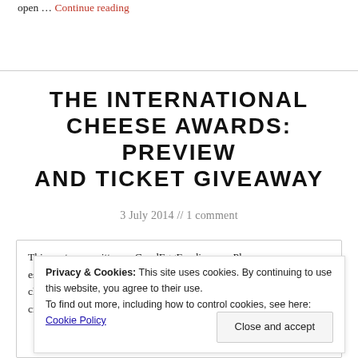open … Continue reading
THE INTERNATIONAL CHEESE AWARDS: PREVIEW AND TICKET GIVEAWAY
3 July 2014 // 1 comment
This post was written as GoodEggFoodie.com. Please es… EATS.com for the latest, shiny new content. I ruddy love cheese I do; good mature Cheddar, the goo… crumbly feta, and damn it even … Continue reading
Privacy & Cookies: This site uses cookies. By continuing to use this website, you agree to their use. To find out more, including how to control cookies, see here: Cookie Policy
Close and accept